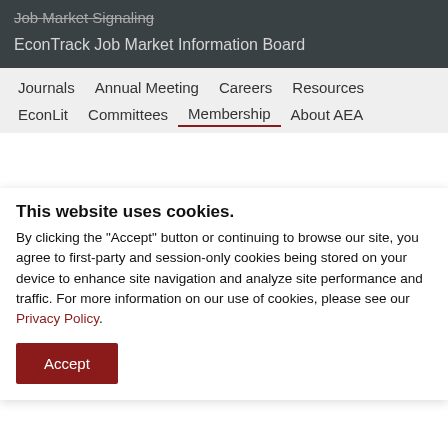Job Market Signaling
EconTrack Job Market Information Board
Journals  Annual Meeting  Careers  Resources
EconLit  Committees  Membership  About AEA
This website uses cookies.
By clicking the "Accept" button or continuing to browse our site, you agree to first-party and session-only cookies being stored on your device to enhance site navigation and analyze site performance and traffic. For more information on our use of cookies, please see our Privacy Policy.
Accept